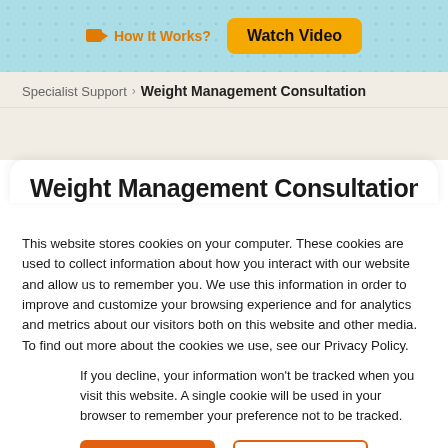How It Works? Watch Video
Specialist Support › Weight Management Consultation
Weight Management Consultation
This website stores cookies on your computer. These cookies are used to collect information about how you interact with our website and allow us to remember you. We use this information in order to improve and customize your browsing experience and for analytics and metrics about our visitors both on this website and other media. To find out more about the cookies we use, see our Privacy Policy.
If you decline, your information won't be tracked when you visit this website. A single cookie will be used in your browser to remember your preference not to be tracked.
Accept
Decline